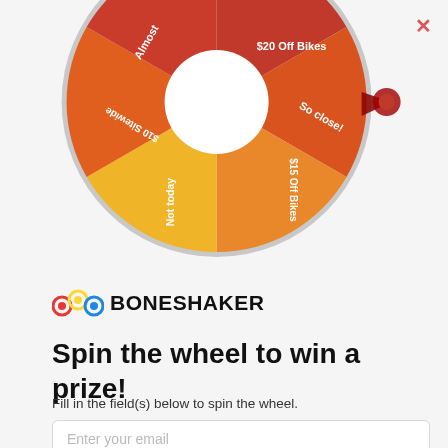[Figure (illustration): A colorful spinning prize wheel showing segments labeled: 'Almost', '$20 Off Bikes', 'So close!', '$15 Off Bikes', 'Not today', '$10 Sitewide'. The wheel is partially cropped showing the bottom half, with a red arrow/pointer on the right side. The wheel has segments in shades of red, orange, and yellow.]
[Figure (logo): Boneshaker logo: three interconnected gear/circle icons in red, yellow, and blue, followed by the bold text 'BONESHAKER']
Spin the wheel to win a prize!
Fill in the field(s) below to spin the wheel.
Enter your email